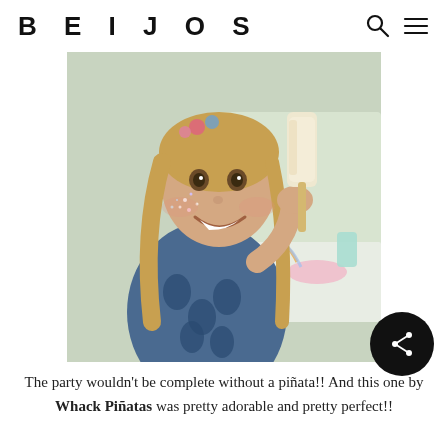BEIJOS
[Figure (photo): Young blonde girl with glitter face paint and flower crown, smiling and holding an ice cream bar on a stick, wearing a blue patterned dress, at an outdoor party table with pink and mint decorations]
The party wouldn't be complete without a piñata!! And this one by Whack Piñatas was pretty adorable and pretty perfect!!